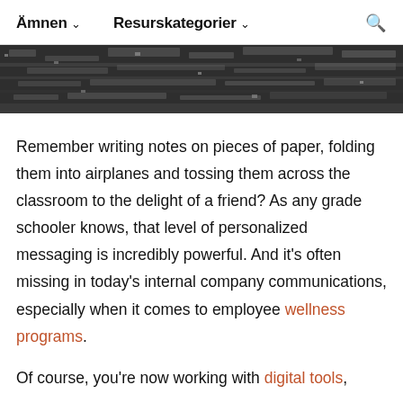Ämnen ˅   Resurskategorier ˅   🔍
[Figure (photo): Close-up grainy black and white photo of a textured rocky or stone surface]
Remember writing notes on pieces of paper, folding them into airplanes and tossing them across the classroom to the delight of a friend? As any grade schooler knows, that level of personalized messaging is incredibly powerful. And it's often missing in today's internal company communications, especially when it comes to employee wellness programs.
Of course, you're now working with digital tools,